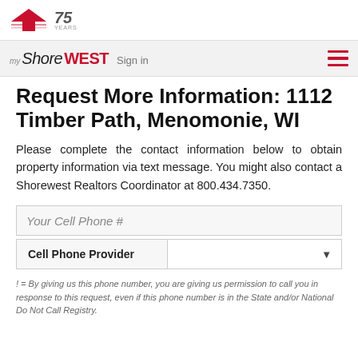[Figure (logo): Shorewest Realtors 75 years logo with red house icon]
myShoreWEST Sign in
Request More Information: 1112 Timber Path, Menomonie, WI
Please complete the contact information below to obtain property information via text message. You might also contact a Shorewest Realtors Coordinator at 800.434.7350.
Your Cell Phone #
Cell Phone Provider
! = By giving us this phone number, you are giving us permission to call you in response to this request, even if this phone number is in the State and/or National Do Not Call Registry.